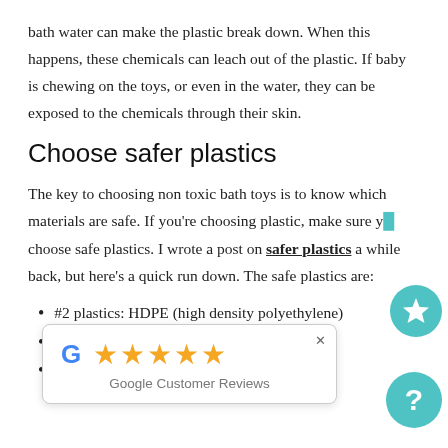bath water can make the plastic break down. When this happens, these chemicals can leach out of the plastic. If baby is chewing on the toys, or even in the water, they can be exposed to the chemicals through their skin.
Choose safer plastics
The key to choosing non toxic bath toys is to know which materials are safe. If you're choosing plastic, make sure you choose safe plastics. I wrote a post on safer plastics a while back, but here's a quick run down. The safe plastics are:
#2 plastics: HDPE (high density polyethylene)
#4 plastics: LDPE (low density polyethylene)
#5 plastics: PP (polypropylene)
[Figure (other): Google Customer Reviews popup with 5 gold stars and Google G logo]